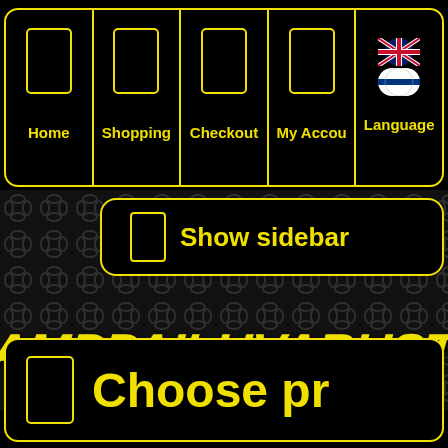[Figure (screenshot): Navigation bar with icons for Home, Shopping, Checkout, My Account, Language with UK and Finnish flags]
[Figure (screenshot): Show sidebar button with icon]
[Figure (logo): TJ's Kamppailuvaruste OY logo in yellow italic on dark chain-link background]
[Figure (screenshot): Bottom bar with icon and Choose pr text]